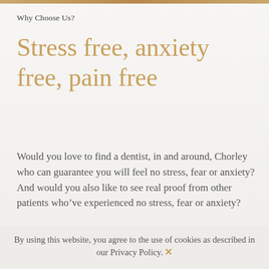Why Choose Us?
Stress free, anxiety free, pain free
Would you love to find a dentist, in and around, Chorley who can guarantee you will feel no stress, fear or anxiety? And would you also like to see real proof from other patients who've experienced no stress, fear or anxiety?
By using this website, you agree to the use of cookies as described in our Privacy Policy.